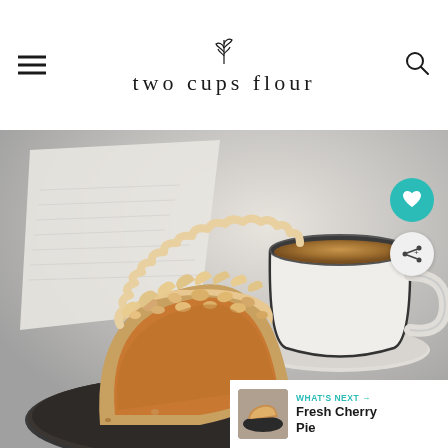two cups flour
[Figure (photo): A slice of pie with crumble topping on a dark plate, with a cup of tea and napkins in the background. Food photography for a recipe blog.]
WHAT'S NEXT → Fresh Cherry Pie